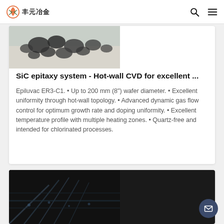丰元冶金
[Figure (photo): Photo of dark metallic SiC granules/stones on a light surface]
SiC epitaxy system - Hot-wall CVD for excellent ...
Epiluvac ER3-C1. • Up to 200 mm (8") wafer diameter. • Excellent uniformity through hot-wall topology. • Advanced dynamic gas flow control for optimum growth rate and doping uniformity. • Excellent temperature profile with multiple heating zones. • Quartz-free and intended for chlorinated processes.
[Figure (photo): Photo of a dark industrial interior space with equipment/infrastructure visible]